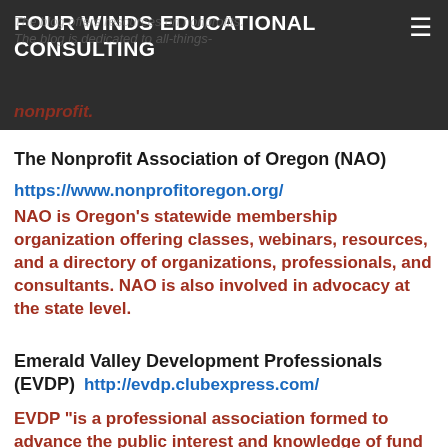FOUR WINDS EDUCATIONAL CONSULTING
The blog offers resources on nonprofits. The blog is dedicated to all-things-nonprofit.
The Nonprofit Association of Oregon (NAO)
https://www.nonprofitoregon.org/
NAO is Oregon's statewide membership organization offering classes, webinars, resources, and a directory of organizations, professionals, and consultants. NAO is also involved in advocacy at the state level.
Emerald Valley Development Professionals (EVDP)
http://evdp.clubexpress.com/
EVDP "is a professional association formed to advance the public interest and knowledge of fund development, and to